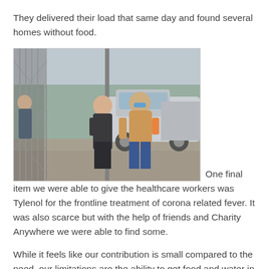They delivered their load that same day and found several homes without food.
[Figure (photo): Outdoor scene showing two people near a chain-link fence and a silver pickup truck. One person wears a blue face mask and tan jacket with blue pants. Another person is in a dark jacket. The setting appears to be a food or supply distribution point.]
One final item we were able to give the healthcare workers was Tylenol for the frontline treatment of corona related fever. It was also scarce but with the help of friends and Charity Anywhere we were able to find some.
While it feels like our contribution is small compared to the need, our limitations are the ability to get food and water in large quantities at this time of reduced supplies. And also the ability to deliver. We can only